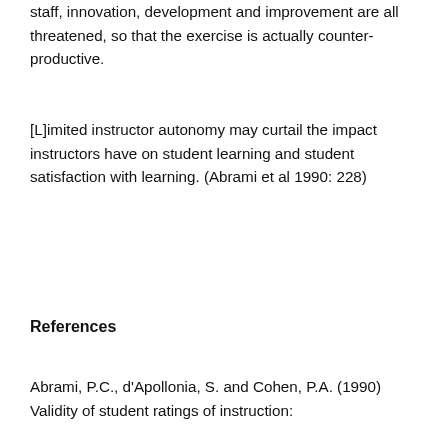staff, innovation, development and improvement are all threatened, so that the exercise is actually counter-productive.
[L]imited instructor autonomy may curtail the impact instructors have on student learning and student satisfaction with learning. (Abrami et al 1990: 228)
References
Abrami, P.C., d'Apollonia, S. and Cohen, P.A. (1990) Validity of student ratings of instruction: